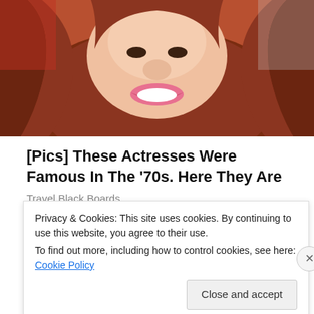[Figure (photo): Cropped photo of a woman with long reddish-brown hair and pink lips, smiling, with a red background.]
[Pics] These Actresses Were Famous In The '70s. Here They Are
Travel Black Boards
Spread the word:
Twitter  LinkedIn  Facebook  Pocket  Tumblr
Privacy & Cookies: This site uses cookies. By continuing to use this website, you agree to their use.
To find out more, including how to control cookies, see here: Cookie Policy
Close and accept